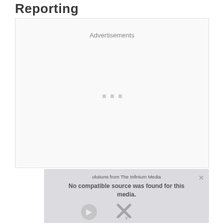Reporting
[Figure (other): Advertisement placeholder box with 'Advertisements' label centered at top and three small gray square dots in the middle]
[Figure (other): Video player overlay showing 'No compatible source was found for this media.' error message with media icons and an X close button]